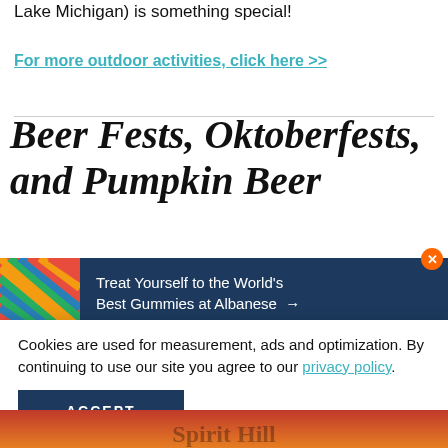Lake Michigan) is something special!
For more outdoor activities, click here >>
Beer Fests, Oktoberfests, and Pumpkin Beer
[Figure (photo): Colorful diagonal woven pattern (ad image) with dark blue banner: 'Treat Yourself to the World's Best Gummies at Albanese →' with orange X close button]
Cookies are used for measurement, ads and optimization. By continuing to use our site you agree to our privacy policy.
ACCEPT
[Figure (photo): Partial bottom image strip with orange/red gradient and partially visible text]